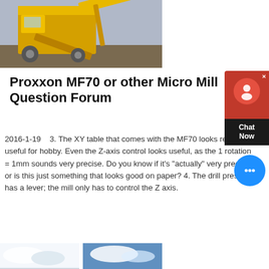[Figure (photo): Yellow construction/mining machinery equipment on a worksite]
Proxxon MF70 or other Micro Mill Question Forum
2016-1-19    3. The XY table that comes with the MF70 looks really useful for hobby. Even the Z-axis control looks useful, as the 1 rotation = 1mm sounds very precise. Do you know if it's "actually" very precise, or is this just something that looks good on paper? 4. The drill press has a lever; the mill only has to control the Z axis.
get price
[Figure (photo): Two photos side by side showing cloudy sky/landscape scenes]